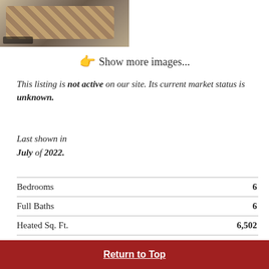[Figure (photo): Partial view of a staircase with wooden banister, top portion of photo]
👉 Show more images...
This listing is not active on our site. Its current market status is unknown.
Last shown in July of 2022.
|  |  |
| --- | --- |
| Bedrooms | 6 |
| Full Baths | 6 |
| Heated Sq. Ft. | 6,502 |
| Acres | 0.7 |
| Zoning |  |
|  | Historic District |
Return to Top